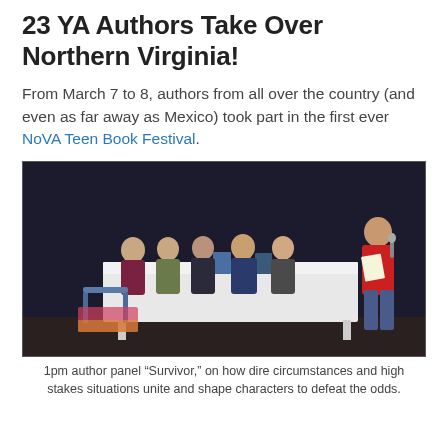23 YA Authors Take Over Northern Virginia!
From March 7 to 8, authors from all over the country (and even as far away as Mexico) took part in the first ever NoVA Teen Book Festival.
[Figure (photo): Panel of five women seated at a white-draped table on a stage with dark curtain backdrop, with a sixth woman in a red top standing at right holding a microphone and papers, at the NoVA Teen Book Festival author panel.]
1pm author panel “Survivor,” on how dire circumstances and high stakes situations unite and shape characters to defeat the odds.